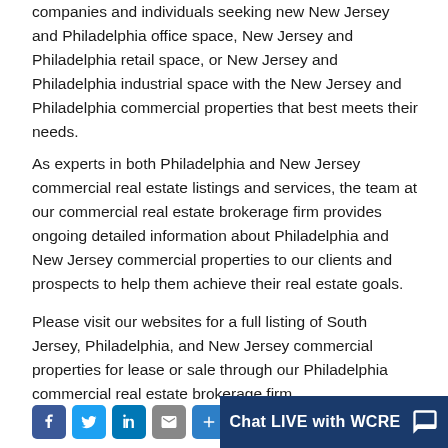companies and individuals seeking new New Jersey and Philadelphia office space, New Jersey and Philadelphia retail space, or New Jersey and Philadelphia industrial space with the New Jersey and Philadelphia commercial properties that best meets their needs.
As experts in both Philadelphia and New Jersey commercial real estate listings and services, the team at our commercial real estate brokerage firm provides ongoing detailed information about Philadelphia and New Jersey commercial properties to our clients and prospects to help them achieve their real estate goals.
Please visit our websites for a full listing of South Jersey, Philadelphia, and New Jersey commercial properties for lease or sale through our Philadelphia commercial real estate brokerage firm.
[Figure (infographic): Social media share icons (Facebook, Twitter, LinkedIn, Email, More) and a dark blue Chat LIVE with WCRE button with chat icon]